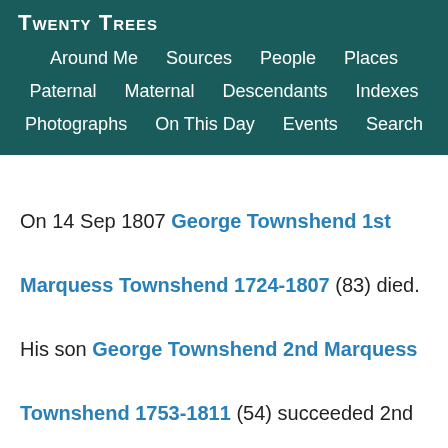Twenty Trees
Around Me  Sources  People  Places  Paternal  Maternal  Descendants  Indexes  Photographs  On This Day  Events  Search
On 14 Sep 1807 George Townshend 1st Marquess Townshend 1724-1807 (83) died. His son George Townshend 2nd Marquess Townshend 1753-1811 (54) succeeded 2nd